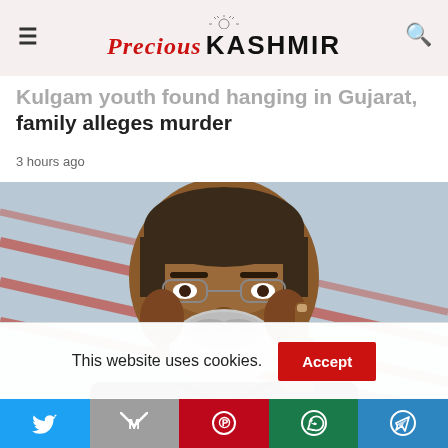Precious Kashmir
Kulgam youth found hanging in Gujarat, family alleges murder
3 hours ago
[Figure (photo): Close-up photo of an elderly man with glasses and a grey beard, raising one finger, against a background with red diagonal lines]
This website uses cookies.  Accept
Social share bar: Twitter, Gmail, Pinterest, WhatsApp, Telegram